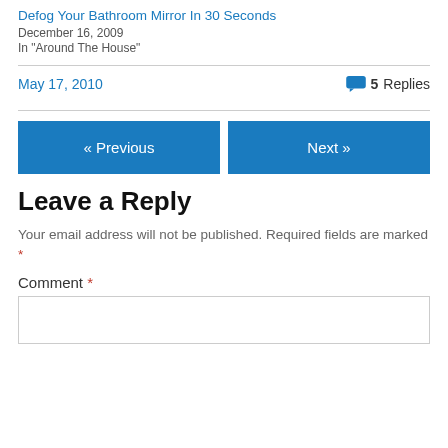Defog Your Bathroom Mirror In 30 Seconds
December 16, 2009
In "Around The House"
May 17, 2010
5 Replies
« Previous
Next »
Leave a Reply
Your email address will not be published. Required fields are marked *
Comment *